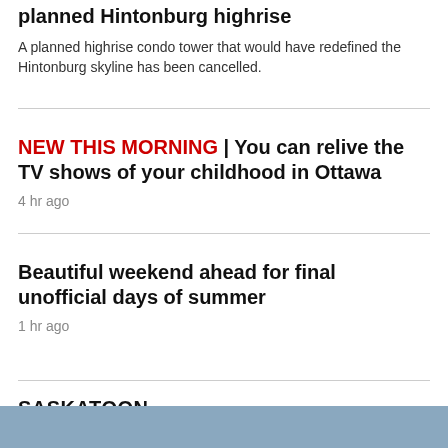planned Hintonburg highrise
A planned highrise condo tower that would have redefined the Hintonburg skyline has been cancelled.
NEW THIS MORNING | You can relive the TV shows of your childhood in Ottawa
4 hr ago
Beautiful weekend ahead for final unofficial days of summer
1 hr ago
SASKATOON >